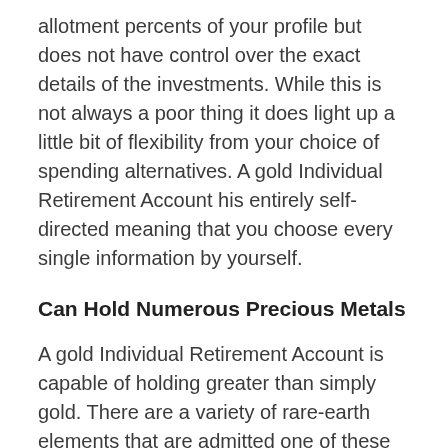allotment percents of your profile but does not have control over the exact details of the investments. While this is not always a poor thing it does light up a little bit of flexibility from your choice of spending alternatives. A gold Individual Retirement Account his entirely self-directed meaning that you choose every single information by yourself.
Can Hold Numerous Precious Metals
A gold Individual Retirement Account is capable of holding greater than simply gold. There are a variety of rare-earth elements that are admitted one of these financial investment accounts. In addition to gold, you can hold various sorts of